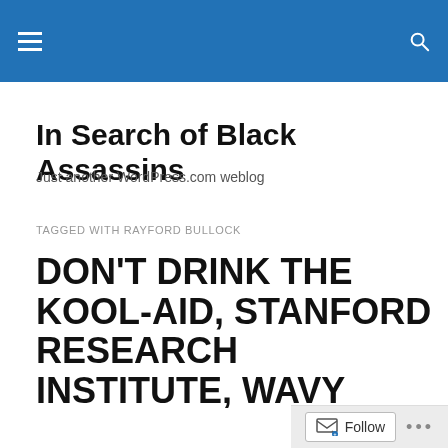In Search of Black Assassins — site header bar
In Search of Black Assassins
Just another WordPress.com weblog
TAGGED WITH RAYFORD BULLOCK
DON'T DRINK THE KOOL-AID, STANFORD RESEARCH INSTITUTE, WAVY GRAVY, JERRY GARCIA, GRATEFUL DEAD. THE BOHEMIAN GROVE & THE HART…